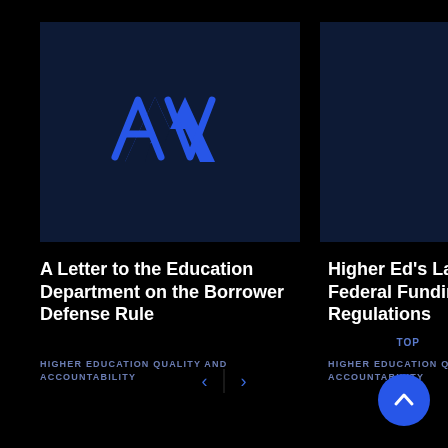[Figure (logo): Dark navy blue card with blue AV logo mark (two angular chevron shapes forming 'AV' in bright blue)]
A Letter to the Education Department on the Borrower Defense Rule
HIGHER EDUCATION QUALITY AND ACCOUNTABILITY
Higher Ed’s Last Ca Federal Funding Regulations
HIGHER EDUCATION QU ACCOUNTABILITY
[Figure (infographic): Navigation arrows left and right with vertical divider, and TOP button with upward caret in blue circle]